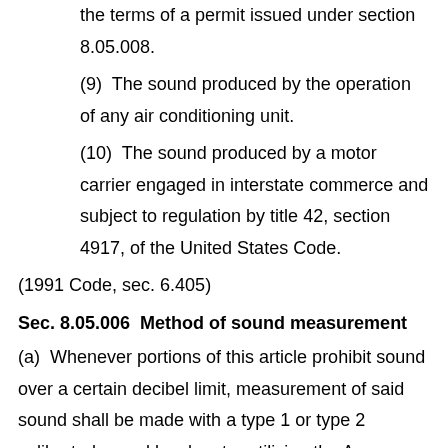the terms of a permit issued under section 8.05.008.
(9)  The sound produced by the operation of any air conditioning unit.
(10)  The sound produced by a motor carrier engaged in interstate commerce and subject to regulation by title 42, section 4917, of the United States Code.
(1991 Code, sec. 6.405)
Sec. 8.05.006  Method of sound measurement
(a)  Whenever portions of this article prohibit sound over a certain decibel limit, measurement of said sound shall be made with a type 1 or type 2 calibrated sound level meter utilizing the A-weighting scale and